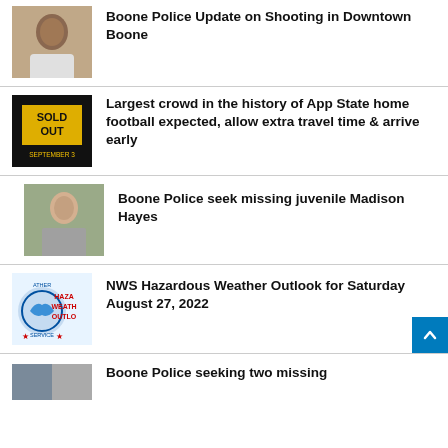[Figure (photo): Mugshot of a man in a white hoodie]
Boone Police Update on Shooting in Downtown Boone
[Figure (photo): Sold Out poster for App State football game, September 3]
Largest crowd in the history of App State home football expected, allow extra travel time & arrive early
[Figure (photo): Photo of missing juvenile Madison Hayes, young woman in a gray t-shirt]
Boone Police seek missing juvenile Madison Hayes
[Figure (photo): NWS Hazardous Weather Outlook thumbnail with weather service logo and red text]
NWS Hazardous Weather Outlook for Saturday August 27, 2022
[Figure (photo): Partial thumbnail for final news item]
Boone Police seeking two missing